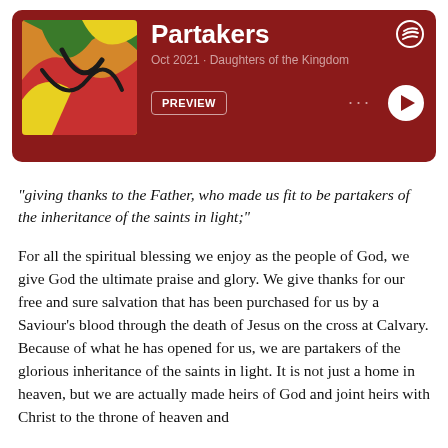[Figure (screenshot): Spotify podcast card with album art for 'Daughters of the Kingdom', showing track title 'Partakers', date 'Oct 2021', artist 'Daughters of the Kingdom', a PREVIEW button, three dots menu, and a play button on a dark red background.]
“giving thanks to the Father, who made us fit to be partakers of the inheritance of the saints in light;”
For all the spiritual blessing we enjoy as the people of God, we give God the ultimate praise and glory. We give thanks for our free and sure salvation that has been purchased for us by a Saviour’s blood through the death of Jesus on the cross at Calvary. Because of what he has opened for us, we are partakers of the glorious inheritance of the saints in light. It is not just a home in heaven, but we are actually made heirs of God and joint heirs with Christ to the throne of heaven and